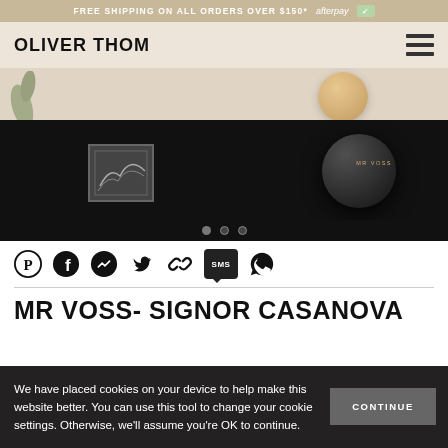FREE SHIPPING ON ALL ORDERS OVER $150*  afterpay
OLIVER THOM
[Figure (photo): Website hero image showing a dark-themed product display with a Mr Voss branded black sphere, artwork in background, and a beige textured ball above on a light background]
[Figure (infographic): Social sharing icons row: Pinterest, Facebook, Messenger, Twitter, Link, SMS, WhatsApp]
MR VOSS- SIGNOR CASANOVA
We have placed cookies on your device to help make this website better. You can use this tool to change your cookie settings. Otherwise, we'll assume you're OK to continue.